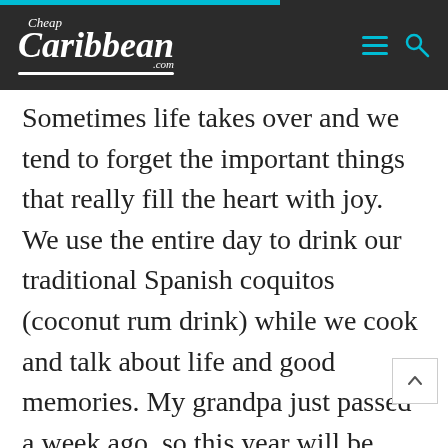Cheap Caribbean .com
Sometimes life takes over and we tend to forget the important things that really fill the heart with joy. We use the entire day to drink our traditional Spanish coquitos (coconut rum drink) while we cook and talk about life and good memories. My grandpa just passed a week ago, so this year will be hard for us but with family by your side you can over come anything. My partner and i tend to spend the holidays with them but love to travel right before or after them. My birthday is in December but i really dislike the cold, so i try to take